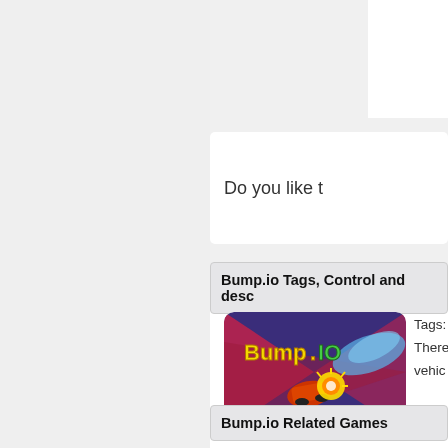Do you like t
Bump.io Tags, Control and desc
[Figure (illustration): Bump.io game thumbnail showing colorful cars colliding with 'Bump.IO' logo text in yellow and green on a purple/red background]
Tags:
There
vehic
Bump.io Related Games